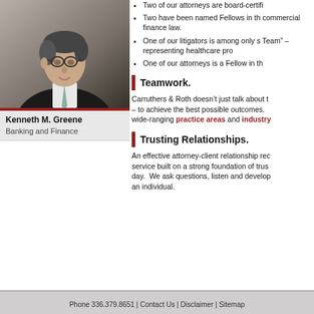[Figure (photo): Portrait photo of Kenneth M. Greene, an older man with glasses wearing a dark suit and light tie, photographed from the side/front against a gray background.]
Kenneth M. Greene
Banking and Finance
Two of our attorneys are board-certifi
Two have been named Fellows in th commercial finance law.
One of our litigators is among only s Team” – representing healthcare pro
One of our attorneys is a Fellow in th
Teamwork.
Carruthers & Roth doesn’t just talk about t – to achieve the best possible outcomes. wide-ranging practice areas and industry
Trusting Relationships.
An effective attorney-client relationship rec service built on a strong foundation of trus day. We ask questions, listen and develop an individual.
Phone 336.379.8651 | Contact Us | Disclaimer | Sitemap